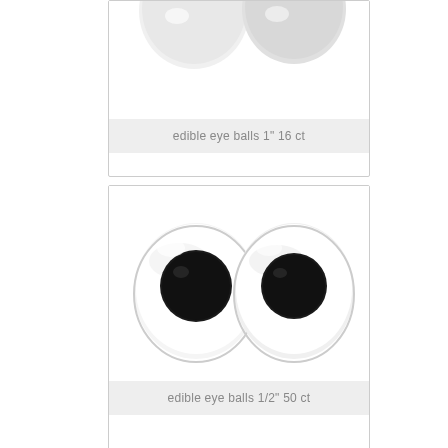[Figure (photo): Two white round edible eye balls (large, 1 inch size), partially cropped at top]
edible eye balls 1" 16 ct
[Figure (photo): Two white round edible eye balls with large black pupils (half inch size, googly eye style)]
edible eye balls 1/2" 50 ct